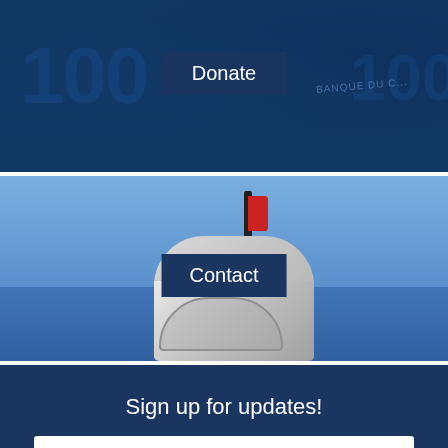[Figure (photo): Blue-tinted photo of Canadian $100 bills fanned out, with a dark navy 'Donate' label overlaid in the center]
[Figure (photo): Photo of an open metal mailbox against a blue sky with a red flag raised, with a dark navy 'Contact' label overlaid in the center]
Sign up for updates!